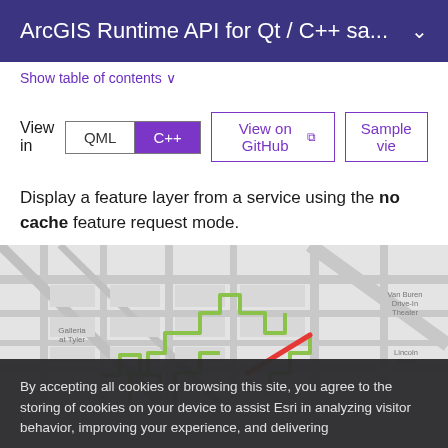ArcGIS Runtime API for Qt / C++ sa...
Show table of contents ∨
View in  QML  C++   View on GitHub ↗   Sample vie...
Display a feature layer from a service using the no cache feature request mode.
[Figure (screenshot): A map screenshot showing streets with green and red highlighted routes overlaid on a light gray street map background, with location labels such as 'Galleria at Tyler', 'Van Buren Drive-In Theater', 'Lincoln Plaza'.]
By accepting all cookies or browsing this site, you agree to the storing of cookies on your device to assist Esri in analyzing visitor behavior, improving your experience, and delivering